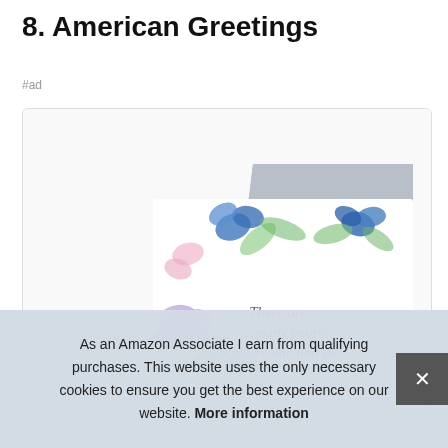8. American Greetings
#ad
[Figure (photo): A greeting card with floral watercolor design (blue and purple flowers, green leaves) showing partial text 'There are many people who come and go', with a gray envelope behind it, inside a white rounded-border box.]
As an Amazon Associate I earn from qualifying purchases. This website uses the only necessary cookies to ensure you get the best experience on our website. More information